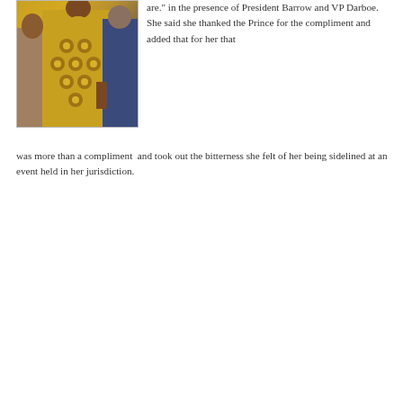[Figure (photo): A woman wearing a colorful yellow and grey African print dress standing next to a man in a blue suit, photographed from the torso up.]
are." in the presence of President Barrow and VP Darboe. She said she thanked the Prince for the compliment and added that for her that was more than a compliment and took out the bitterness she felt of her being sidelined at an event held in her jurisdiction.